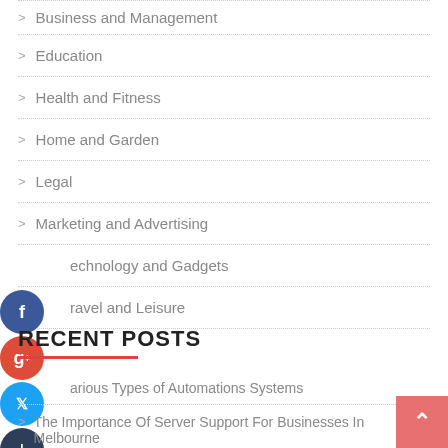Business and Management
Education
Health and Fitness
Home and Garden
Legal
Marketing and Advertising
Technology and Gadgets
Travel and Leisure
RECENT POSTS
Various Types of Automations Systems
The Importance Of Server Support For Businesses In Melbourne